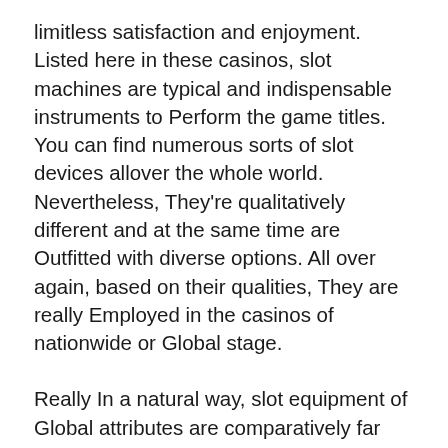limitless satisfaction and enjoyment. Listed here in these casinos, slot machines are typical and indispensable instruments to Perform the game titles. You can find numerous sorts of slot devices allover the whole world. Nevertheless, They're qualitatively different and at the same time are Outfitted with diverse options. All over again, based on their qualities, They are really Employed in the casinos of nationwide or Global stage.
Really In a natural way, slot equipment of Global attributes are comparatively far better when compared to other kinds of slot machines. This authentic gaming equipment identified as Super Black Jack Skill Quit Slot Device is gclub slot largely meant for the